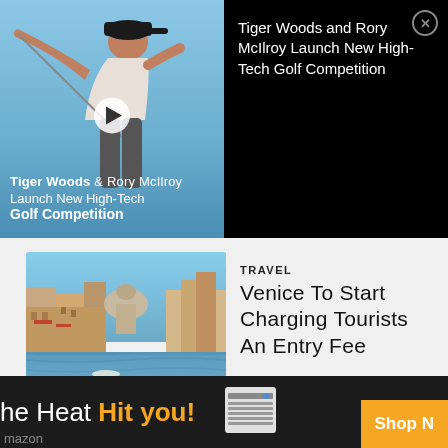[Figure (screenshot): Video thumbnail showing a golfer swinging with 'Tiger Woods & Rory McIlroy Launch New High-Tech Golf Competition' text overlay and play button]
Tiger Woods and Rory McIlroy Launch New High-Tech Golf Competition
TRAVEL
[Figure (photo): Aerial/canal view of Venice, Italy showing the Grand Canal with historic buildings]
Venice To Start Charging Tourists An Entry Fee
Gitty McGee
TRAVEL
[Figure (photo): Aerial view of a white yacht on turquoise water]
Private Yacht Charters
[Figure (other): Advertisement banner: 'the Heat Hit you! Shop Now' with air conditioner image and Amazon branding]